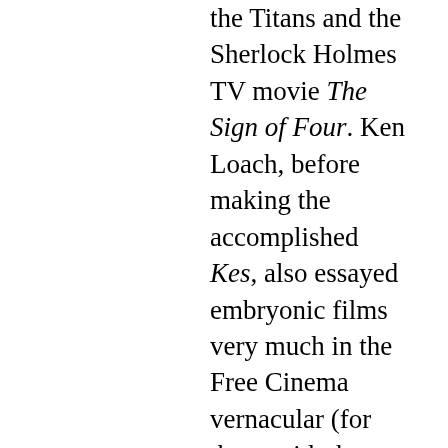the Titans and the Sherlock Holmes TV movie The Sign of Four. Ken Loach, before making the accomplished Kes, also essayed embryonic films very much in the Free Cinema vernacular (for those with the mistaken impression Kes appeared without any trial runs) in Cathy Come Home for TV and his debut film Poor Cow (1967), based on Nell Dunn's novel, in which Carol White's Joy flirts with prositution after her husband (Terence Stamp) is imprisoned. A fair first film, it lacks the strong dramatic spine that Loach became more adept at, but established right away that his influences were chiefly Free Cinema, documentary, and determinedly individual. When did the Free Cinema movement slide it...